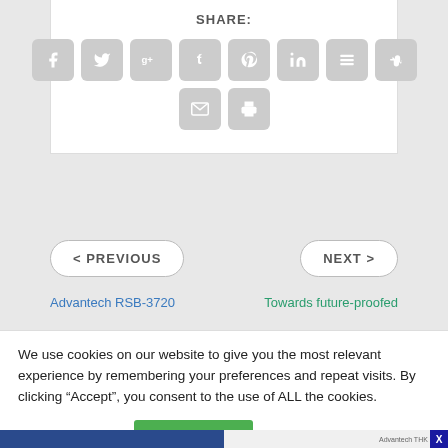SHARE:
[Figure (infographic): Social media share buttons: Facebook, Twitter, Google+, Tumblr, Pinterest, LinkedIn, Buffer, StumbleUpon, Email, Print]
< PREVIOUS
NEXT >
Advantech RSB-3720
Towards future-proofed
We use cookies on our website to give you the most relevant experience by remembering your preferences and repeat visits. By clicking “Accept”, you consent to the use of ALL the cookies.
Cookie settings
ACCEPT